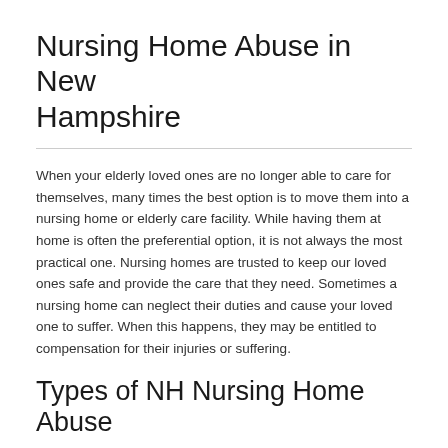Nursing Home Abuse in New Hampshire
When your elderly loved ones are no longer able to care for themselves, many times the best option is to move them into a nursing home or elderly care facility. While having them at home is often the preferential option, it is not always the most practical one. Nursing homes are trusted to keep our loved ones safe and provide the care that they need. Sometimes a nursing home can neglect their duties and cause your loved one to suffer. When this happens, they may be entitled to compensation for their injuries or suffering.
Types of NH Nursing Home Abuse
Abuse can take place in many physical forms. The